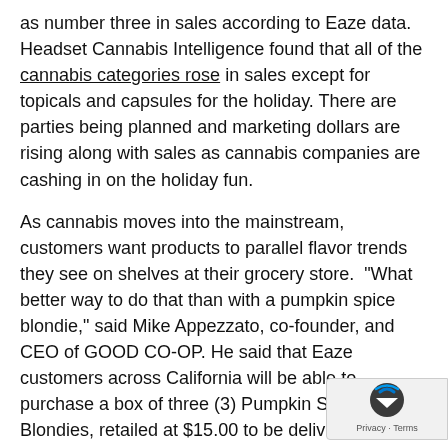as number three in sales according to Eaze data. Headset Cannabis Intelligence found that all of the cannabis categories rose in sales except for topicals and capsules for the holiday. There are parties being planned and marketing dollars are rising along with sales as cannabis companies are cashing in on the holiday fun.
As cannabis moves into the mainstream, customers want products to parallel flavor trends they see on shelves at their grocery store. "What better way to do that than with a pumpkin spice blondie," said Mike Appezzato, co-founder, and CEO of GOOD CO-OP. He said that Eaze customers across California will be able to purchase a box of three (3) Pumpkin Spice Blondies, retailed at $15.00 to be delivered in 20 minutes on average, beginning October 18th and available through November. Oakland-based cannabis company GOOD CO-OP launched the edible blondie exclusively on the Eaze platform, a marijuana marketplace that'll ensure your treat gets delivered in 2 minutes or less. It's a delicious mix of organic pumpkin,
[Figure (other): Privacy badge / scroll-to-top button overlay in lower right corner]